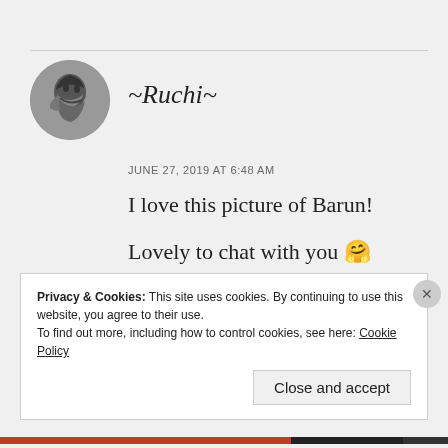[Figure (photo): Circular avatar photo of a man in black and white, side profile looking down]
~Ruchi~
JUNE 27, 2019 AT 6:48 AM
I love this picture of Barun!
Lovely to chat with you 🤗
★ Liked by 1 person
Privacy & Cookies: This site uses cookies. By continuing to use this website, you agree to their use.
To find out more, including how to control cookies, see here: Cookie Policy
Close and accept